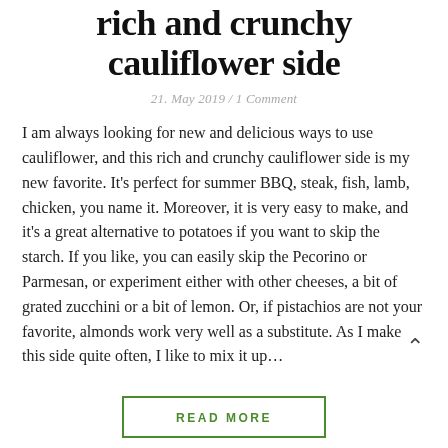rich and crunchy cauliflower side
21. May 2019 / 1 Comment
I am always looking for new and delicious ways to use cauliflower, and this rich and crunchy cauliflower side is my new favorite. It's perfect for summer BBQ, steak, fish, lamb, chicken, you name it. Moreover, it is very easy to make, and it's a great alternative to potatoes if you want to skip the starch. If you like, you can easily skip the Pecorino or Parmesan, or experiment either with other cheeses, a bit of grated zucchini or a bit of lemon. Or, if pistachios are not your favorite, almonds work very well as a substitute. As I make this side quite often, I like to mix it up…
READ MORE